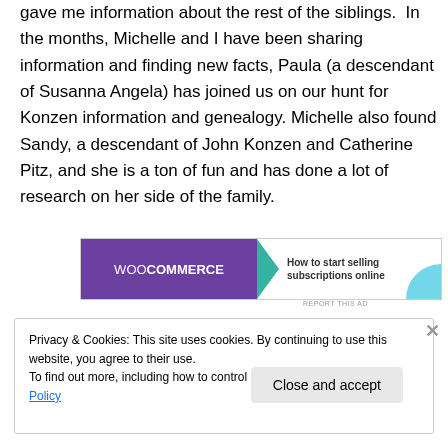gave me information about the rest of the siblings.  In the months, Michelle and I have been sharing information and finding new facts, Paula (a descendant of Susanna Angela) has joined us on our hunt for Konzen information and genealogy. Michelle also found Sandy, a descendant of John Konzen and Catherine Pitz, and she is a ton of fun and has done a lot of research on her side of the family.
[Figure (other): WooCommerce advertisement banner: purple left section with WooCommerce logo and teal triangle, white right section with text 'How to start selling subscriptions online' and teal curved shape in bottom right corner.]
REPORT THIS AD
Privacy & Cookies: This site uses cookies. By continuing to use this website, you agree to their use.
To find out more, including how to control cookies, see here: Cookie Policy
Close and accept